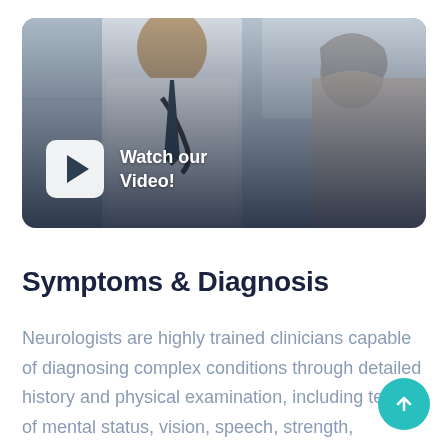[Figure (photo): A doctor with a stethoscope examining an elderly patient. The image has a dark gradient overlay at the bottom. A YouTube-style play button (white rounded rectangle with dark triangle) is in the lower-left, with text 'Watch our Video!' beside it.]
Symptoms & Diagnosis
Neurologists are highly trained clinicians capable of diagnosing complex conditions through detailed history and physical examination, including testing of mental status, vision, speech, strength, sensation, coordination, reflexes, and gait. Even as medicine becomes more dependent on technology, the neurological exam will remain at the cornerstone of the patient evaluation.